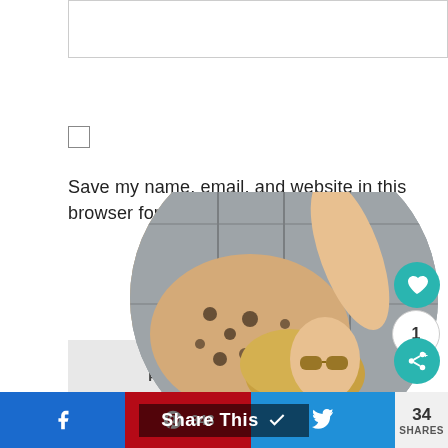[Figure (screenshot): Text input field box (partially visible at top of page)]
[Figure (screenshot): Checkbox (unchecked) for saving browser info]
Save my name, email, and website in this browser for the next time I comment.
[Figure (screenshot): POST COMMENT button, light gray background]
[Figure (photo): Circular portrait photo of a blonde woman in leopard print top, partially visible at bottom of page]
[Figure (screenshot): Social share bar at bottom: Facebook, Pinterest (348), Twitter, share count 34 SHARES, Share This overlay, heart/like button, count button showing 1, share icon button]